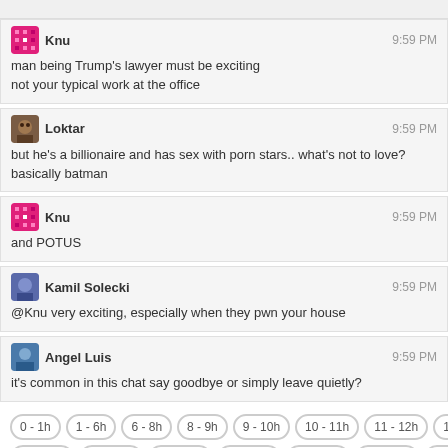Knu 9:59 PM
man being Trump's lawyer must be exciting
not your typical work at the office
Loktar 9:59 PM
but he's a billionaire and has sex with porn stars.. what's not to love?
basically batman
Knu 9:59 PM
and POTUS
Kamil Solecki 9:59 PM
@Knu very exciting, especially when they pwn your house
Angel Luis 9:59 PM
it's common in this chat say goodbye or simply leave quietly?
0 - 1h | 1 - 6h | 6 - 8h | 8 - 9h | 9 - 10h | 10 - 11h | 11 - 12h | 12 - 13h | 13 - 14h | 14 - 15h | 15 - 16h | 16 - 17h | 17 - 18h | 18 - 19h | 19 - 20h | 20 - 21h | 21 - 22h | 22 - 23h | 23 - 0h
← prev day | next day → | last day »
join this room